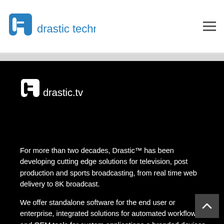[Figure (logo): Drastic Technologies logo with blue 'dt' icon and text 'drastic technologies']
[Figure (logo): Drastic.tv logo with white 'dt' icon and text 'drastic.tv' on black background]
For more than two decades, Drastic™ has been developing cutting edge solutions for television, post production and sports broadcasting, from real time web delivery to 8K broadcast.
We offer standalone software for the end user or enterprise, integrated solutions for automated workflows, and OEM tools for custom applications or branded devices.